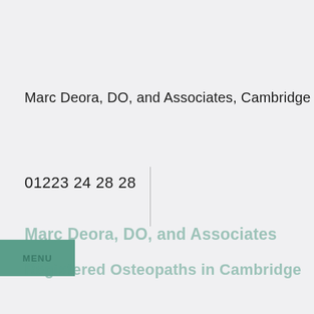Marc Deora, DO,  and Associates, Cambridge
01223 24 28 28
MENU
Marc Deora, DO,  and Associates
Registered Osteopaths in Cambridge